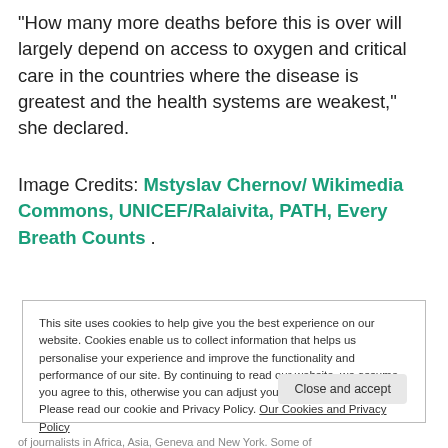“How many more deaths before this is over will largely depend on access to oxygen and critical care in the countries where the disease is greatest and the health systems are weakest,” she declared.
Image Credits: Mstyslav Chernov/ Wikimedia Commons, UNICEF/Ralaivita, PATH, Every Breath Counts .
This site uses cookies to help give you the best experience on our website. Cookies enable us to collect information that helps us personalise your experience and improve the functionality and performance of our site. By continuing to read our website, we assume you agree to this, otherwise you can adjust your browser settings. Please read our cookie and Privacy Policy. Our Cookies and Privacy Policy
of journalists in Africa, Asia, Geneva and New York. Some of